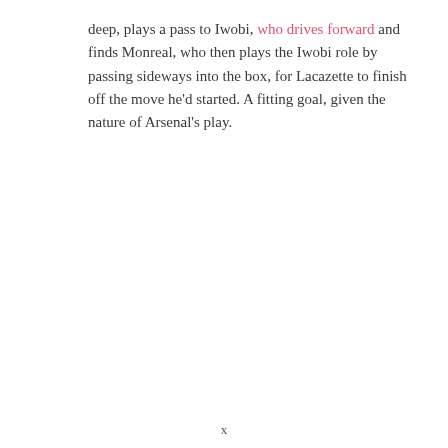deep, plays a pass to Iwobi, who drives forward and finds Monreal, who then plays the Iwobi role by passing sideways into the box, for Lacazette to finish off the move he'd started. A fitting goal, given the nature of Arsenal's play.
x